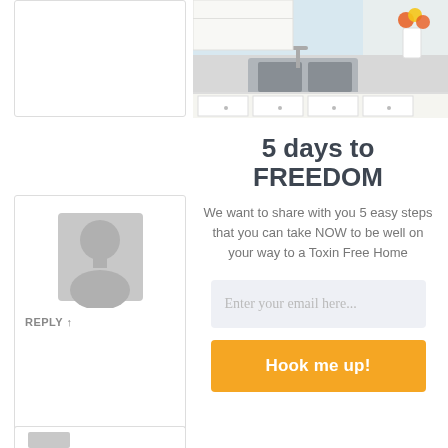[Figure (photo): Kitchen photo showing white cabinets, marble countertop, farmhouse sink, and flowers in a vase by the window]
[Figure (illustration): Grey silhouette placeholder avatar icon for a commenter]
REPLY ↑
[Figure (illustration): Cartoon blonde girl avatar with yellow hair ponytail, smiling face]
REPLY ↑
5 days to FREEDOM
We want to share with you 5 easy steps that you can take NOW to be well on your way to a Toxin Free Home
Enter your email here...
Hook me up!